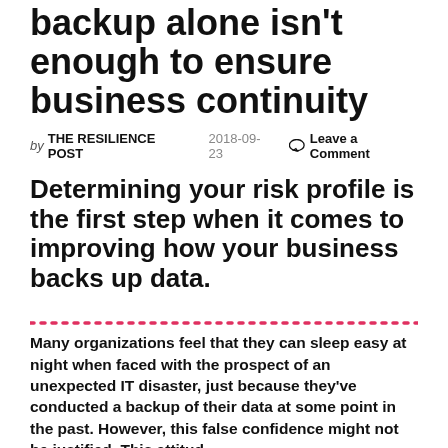backup alone isn't enough to ensure business continuity
by THE RESILIENCE POST   2018-09-23   Leave a Comment
Determining your risk profile is the first step when it comes to improving how your business backs up data.
Many organizations feel that they can sleep easy at night when faced with the prospect of an unexpected IT disaster, just because they've conducted a backup of their data at some point in the past. However, this false confidence might not be justified. This attitude